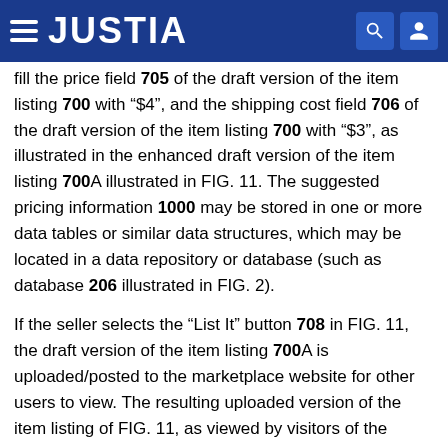JUSTIA
fill the price field 705 of the draft version of the item listing 700 with “$4”, and the shipping cost field 706 of the draft version of the item listing 700 with “$3”, as illustrated in the enhanced draft version of the item listing 700A illustrated in FIG. 11. The suggested pricing information 1000 may be stored in one or more data tables or similar data structures, which may be located in a data repository or database (such as database 206 illustrated in FIG. 2).
If the seller selects the “List It” button 708 in FIG. 11, the draft version of the item listing 700A is uploaded/posted to the marketplace website for other users to view. The resulting uploaded version of the item listing of FIG. 11, as viewed by visitors of the marketplace website, will look similar to the item listing 800 illustrated in FIG. 8, as described above. Thus, since the listing generation